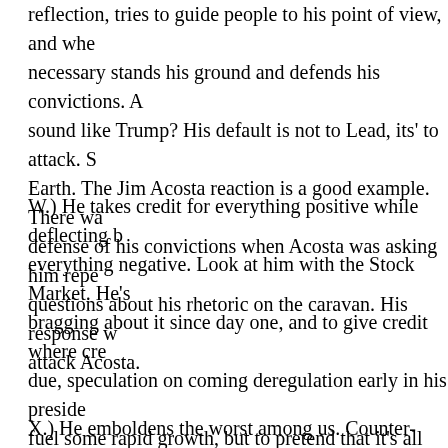reflection, tries to guide people to his point of view, and when necessary stands his ground and defends his convictions. A sound like Trump? His default is not to Lead, its' to attack. S Earth. The Jim Acosta reaction is a good example. There wa defense of his convictions when Acosta was asking him repe questions about his rhetoric on the caravan. His response w attack Acosta.
W.) He takes credit for everything positive while deflecting b everything negative. Look at him with the Stock Market. He's bragging about it since day one, and to give credit where cre due, speculation on coming deregulation early in his preside fuel some rapid growth, but to pretend that it's all him, that w in the 9th year of the longest bull market in history and THE the standard market volatility that deregulation inevitably brin starts to show up? Yeah. Look at yesterday. Hey! Stock Marl losing because the Democrats won! Do I need to bring out th market chart for the last 10 Years again?
X.) He emboldens the worst among us. Counter-protesters a slammed into by a car while countering actual Nazi rally, ang